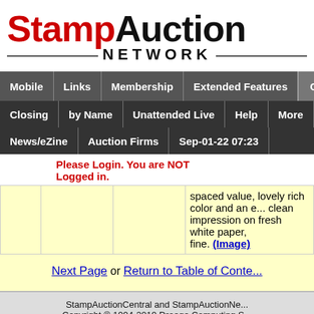[Figure (logo): StampAuction Network logo with red 'Stamp' and black 'Auction' text and 'NETWORK' below]
Mobile | Links | Membership | Extended Features | Calendars
Closing | by Name | Unattended Live | Help | More
News/eZine | Auction Firms | Sep-01-22 07:23
Please Login. You are NOT Logged in.
|  |  |  | spaced value, lovely rich color and an e... clean impression on fresh white paper, ... fine. (Image) |
Next Page or Return to Table of Conte...
StampAuctionCentral and StampAuctionNe... Copyright © 1994-2019 Droege Computing S... All Rights Reserved. Back to Top of Page